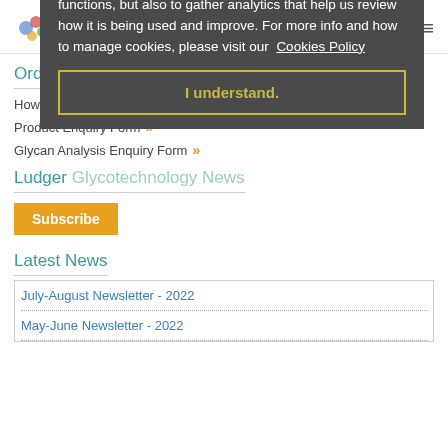Ludger
Ordering & Online Forms
How to Order >>
Product Enquiry Form >>
Glycan Analysis Enquiry Form >>
Ludger Glycotechnology News
Subscribe
Latest News
Our website uses cookies to help necessary site functions, but also to gather analytics that help us review how it is being used and improve. For more info and how to manage cookies, please visit our Cookies Policy
I understand.
July-August Newsletter - 2022
May-June Newsletter - 2022